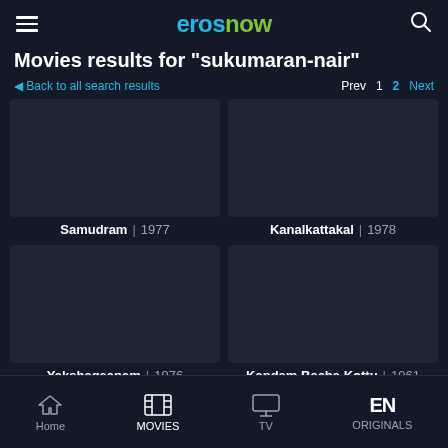erosnow
Movies results for "sukumaran-nair"
Back to all search results   Prev 1 2 Next
[Figure (screenshot): Movie thumbnail placeholder for Samudram 1977]
Samudram | 1977
[Figure (screenshot): Movie thumbnail placeholder for Kanalkattakal 1978]
Kanalkattakal | 1978
[Figure (screenshot): Movie thumbnail placeholder for Yakshagaanam 1976]
Yakshagaanam | 1976
[Figure (screenshot): Movie thumbnail placeholder for Kandam Becha Kottu 1961]
Kandam Becha Kottu | 1961
Home  MOVIES  TV  ORIGINALS